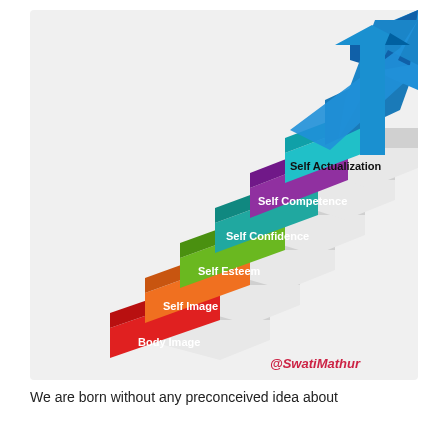[Figure (infographic): Staircase infographic showing self-development levels ascending from bottom-left to top-right: Body Image (red), Self Image (orange), Self Esteem (green), Self Confidence (teal), Self Competence (purple), Self Actualization (teal/cyan) with a large blue upward arrow at the top. Attribution: @SwatiMathur at bottom right.]
We are born without any preconceived idea about